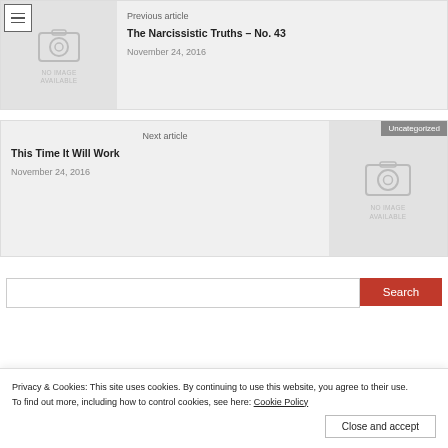Previous article
The Narcissistic Truths – No. 43
November 24, 2016
Next article
This Time It Will Work
November 24, 2016
Uncategorized
Privacy & Cookies: This site uses cookies. By continuing to use this website, you agree to their use. To find out more, including how to control cookies, see here: Cookie Policy
Close and accept